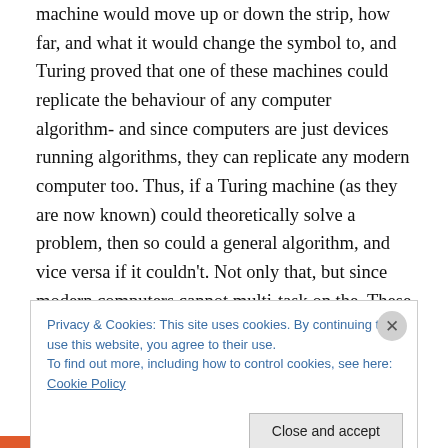machine would move up or down the strip, how far, and what it would change the symbol to, and Turing proved that one of these machines could replicate the behaviour of any computer algorithm- and since computers are just devices running algorithms, they can replicate any modern computer too. Thus, if a Turing machine (as they are now known) could theoretically solve a problem, then so could a general algorithm, and vice versa if it couldn't. Not only that, but since modern computers cannot multi-task on the. These machines not only lay the foundations for computability and computation theory, on which nearly all
Privacy & Cookies: This site uses cookies. By continuing to use this website, you agree to their use.
To find out more, including how to control cookies, see here: Cookie Policy